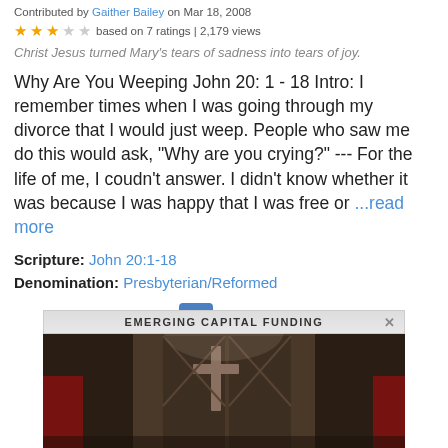Contributed by Gaither Bailey on Mar 18, 2008
★★★☆☆ based on 7 ratings | 2,179 views
Christ Jesus turned Mary's tears of sadness into tears of joy.
Why Are You Weeping John 20: 1 - 18 Intro: I remember times when I was going through my divorce that I would just weep. People who saw me do this would ask, "Why are you crying?" --- For the life of me, I coudn't answer. I didn't know whether it was because I was happy that I was free or …read more
Scripture: John 20:1-18
Denomination: Presbyterian/Reformed
1  Next »
[Figure (other): Advertisement banner for Emerging Capital Funding showing a church door with a cross, gray header with text and close button]